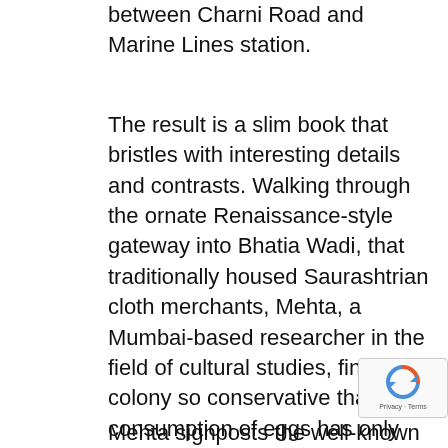between Charni Road and Marine Lines station.
The result is a slim book that bristles with interesting details and contrasts. Walking through the ornate Renaissance-style gateway into Bhatia Wadi, that traditionally housed Saurashtrian cloth merchants, Mehta, a Mumbai-based researcher in the field of cultural studies, finds a colony so conservative that consumption of eggs has only recently been allowed. In the same space, however, he discovers the work of 1930s writer Saroj Pathak, whose fiery stories speak of the claustrophobia of wadi life. (He also discovers that the ghost of the building's founder prowls the courtyard, apparently unhappy with the way things are being run
Mehta signposts the well-known but